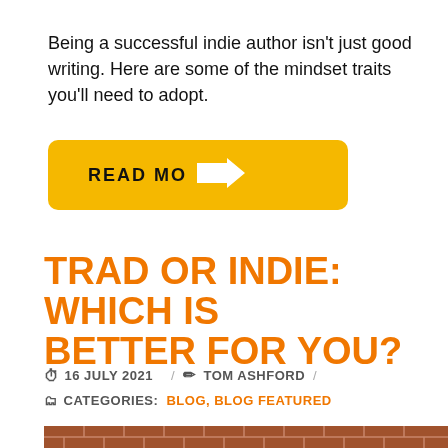Being a successful indie author isn't just good writing. Here are some of the mindset traits you'll need to adopt.
[Figure (other): Yellow rounded button with bold uppercase text 'READ MO' and an arrow icon pointing right]
TRAD OR INDIE: WHICH IS BETTER FOR YOU?
16 JULY 2021 / TOM ASHFORD /
CATEGORIES: BLOG, BLOG FEATURED
[Figure (photo): Photograph of a red brick building facade with arched windows featuring fan/sunburst stonework details]